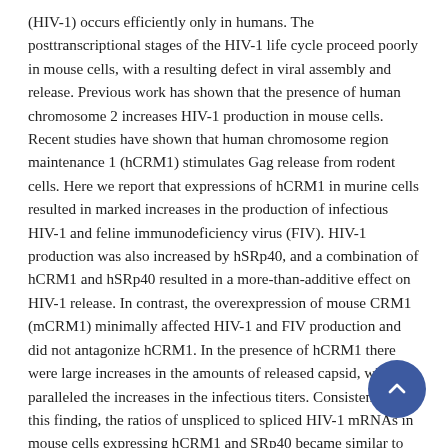(HIV-1) occurs efficiently only in humans. The posttranscriptional stages of the HIV-1 life cycle proceed poorly in mouse cells, with a resulting defect in viral assembly and release. Previous work has shown that the presence of human chromosome 2 increases HIV-1 production in mouse cells. Recent studies have shown that human chromosome region maintenance 1 (hCRM1) stimulates Gag release from rodent cells. Here we report that expressions of hCRM1 in murine cells resulted in marked increases in the production of infectious HIV-1 and feline immunodeficiency virus (FIV). HIV-1 production was also increased by hSRp40, and a combination of hCRM1 and hSRp40 resulted in a more-than-additive effect on HIV-1 release. In contrast, the overexpression of mouse CRM1 (mCRM1) minimally affected HIV-1 and FIV production and did not antagonize hCRM1. In the presence of hCRM1 there were large increases in the amounts of released capsid, which paralleled the increases in the infectious titers. Consistent with this finding, the ratios of unspliced to spliced HIV-1 mRNAs in mouse cells expressing hCRM1 and SRp40 became similar to those of human cells. Furthermore, imaging of intron-containing FIV RNA showed that hCRM1 increased RNA export to the cytoplasm. By testing chimeras between mCRM1 and hCRM1 and comparing those sequences to feline CRM1, we mapped the